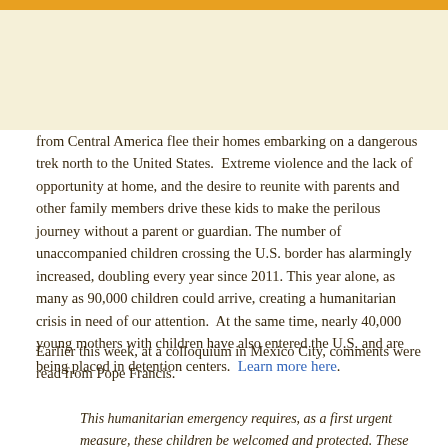from Central America flee their homes embarking on a dangerous trek north to the United States.  Extreme violence and the lack of opportunity at home, and the desire to reunite with parents and other family members drive these kids to make the perilous journey without a parent or guardian. The number of unaccompanied children crossing the U.S. border has alarmingly increased, doubling every year since 2011. This year alone, as many as 90,000 children could arrive, creating a humanitarian crisis in need of our attention.  At the same time, nearly 40,000 young mothers with children have also entered the U.S. and are being placed in detention centers.  Learn more here.
Earlier this week, at a colloquium in Mexico City, comments were read from Pope Francis.
This humanitarian emergency requires, as a first urgent measure, these children be welcomed and protected. These measures...